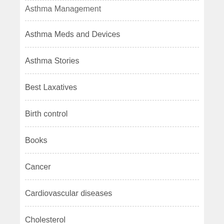Asthma Management
Asthma Meds and Devices
Asthma Stories
Best Laxatives
Birth control
Books
Cancer
Cardiovascular diseases
Cholesterol
CNS disorders